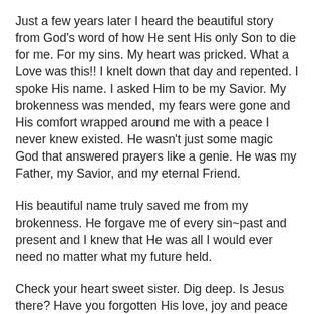Just a few years later I heard the beautiful story from God's word of how He sent His only Son to die for me. For my sins. My heart was pricked. What a Love was this!! I knelt down that day and repented. I spoke His name. I asked Him to be my Savior. My brokenness was mended, my fears were gone and His comfort wrapped around me with a peace I never knew existed. He wasn't just some magic God that answered prayers like a genie. He was my Father, my Savior, and my eternal Friend.
His beautiful name truly saved me from my brokenness. He forgave me of every sin~past and present and I knew that He was all I would ever need no matter what my future held.
Check your heart sweet sister. Dig deep. Is Jesus there? Have you forgotten His love, joy and peace and buried it deep beneath the heartache and hurt, stress and anxiety or fear and anger you are feeling? Do you need to be